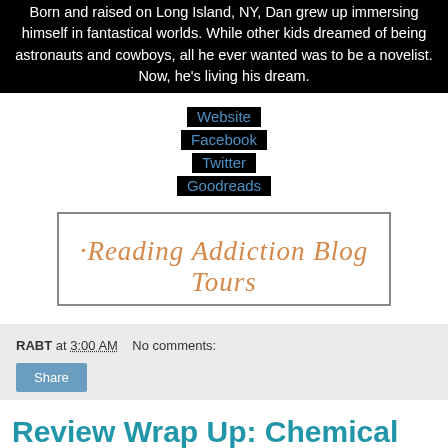Born and raised on Long Island, NY, Dan grew up immersing himself in fantastical worlds. While other kids dreamed of being astronauts and cowboys, all he ever wanted was to be a novelist. Now, he's living his dream.
Website
Facebook
Twitter
Goodreads
[Figure (logo): Reading Addiction Blog Tours banner with orange script lettering on white background with dark border]
RABT at 3:00 AM   No comments:
Review Wrap Up: Chemical Attraction by @ChristinaPOV